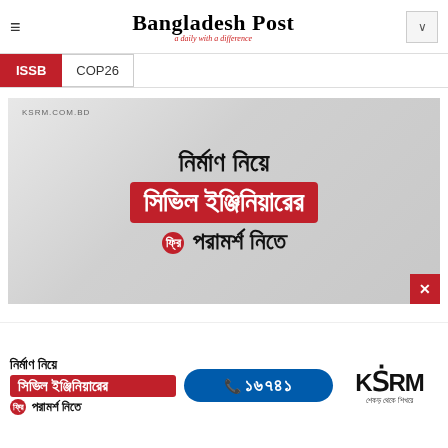Bangladesh Post — a daily with a difference
ISSB  COP26
[Figure (advertisement): KSRM advertisement banner in Bengali: 'নির্মাণ নিয়ে সিভিল ইঞ্জিনিয়ারের ফ্রি পরামর্শ নিতে' (Get free civil engineering advice about construction) with KSRM.COM.BD label]
[Figure (advertisement): Bottom banner KSRM ad with Bengali text, phone number 16741 in blue pill, and KSRM logo]